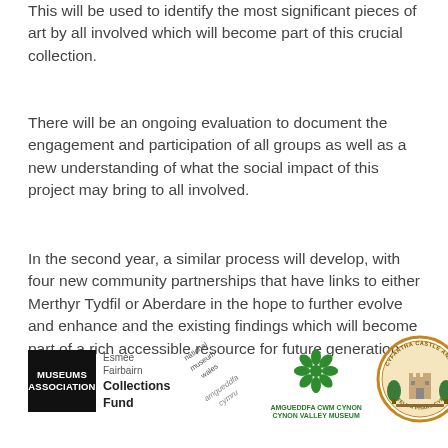This will be used to identify the most significant pieces of art by all involved which will become part of this crucial collection.
There will be an ongoing evaluation to document the engagement and participation of all groups as well as a new understanding of what the social impact of this project may bring to all involved.
In the second year, a similar process will develop, with four new community partnerships that have links to either Merthyr Tydfil or Aberdare in the hope to further evolve and enhance and the existing findings which will become part of a rich accessible resource for future generations.
[Figure (logo): Four logos: Museums Association / Esmee Fairbairn Collections Fund, National Museum Wales (amgueddfa cymru), Amgueddfa Cwm Cynon / Cynon Valley Museum, Cyfartha Castle and Park (Castell a Phasc Cyfartha)]